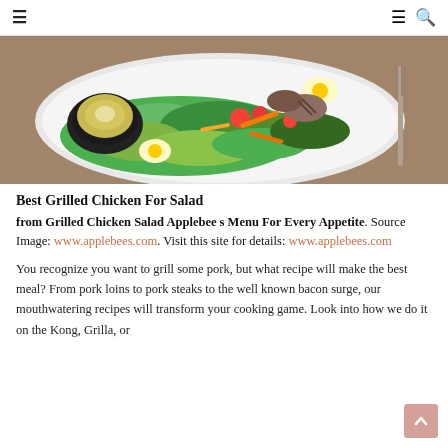☰  ☰ 🔍
[Figure (photo): A plate of grilled chicken salad with lettuce, tomatoes, shredded cheese, hard-boiled eggs, and a small black bowl of creamy dressing on a wooden table with a fork.]
Best Grilled Chicken For Salad
from Grilled Chicken Salad Applebee s Menu For Every Appetite. Source Image: www.applebees.com. Visit this site for details: www.applebees.com
You recognize you want to grill some pork, but what recipe will make the best meal? From pork loins to pork steaks to the well known bacon surge, our mouthwatering recipes will transform your cooking game. Look into how we do it on the Kong, Grilla, or